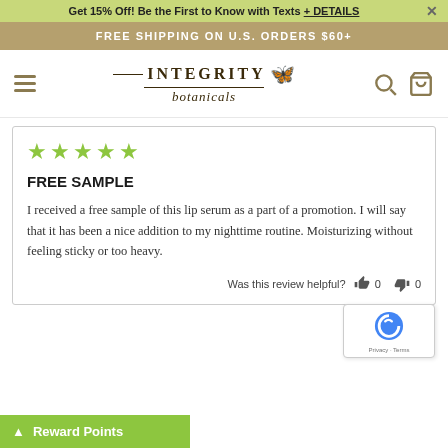Get 15% Off! Be the First to Know with Texts + DETAILS
FREE SHIPPING ON U.S. ORDERS $60+
[Figure (logo): Integrity Botanicals logo with butterfly ornament and italic script subtitle]
FREE SAMPLE
I received a free sample of this lip serum as a part of a promotion. I will say that it has been a nice addition to my nighttime routine. Moisturizing without feeling sticky or too heavy.
Was this review helpful? 👍 0 👎 0
Reward Points